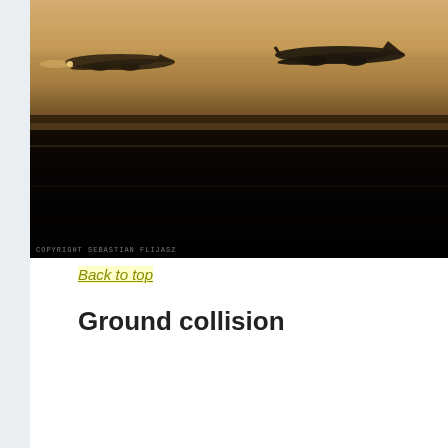[Figure (photo): Sepia-toned photograph of two commercial airplanes on a foggy airport tarmac at night or dusk. The upper portion shows a warm golden/amber hazy sky with both planes visible. The lower two-thirds of the image is very dark, almost black, showing the runway surface with faint horizontal lines. A copyright watermark reads 'Copyright Sebastian Flijasz' at the bottom left of the image.]
Back to top
Ground collision